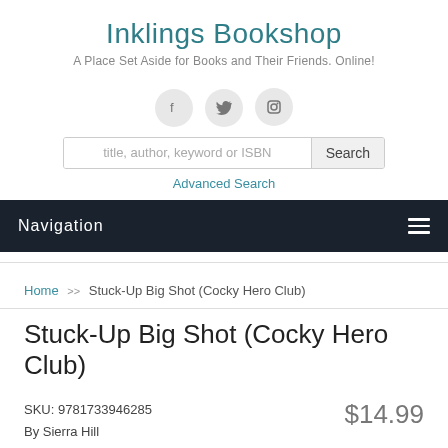Inklings Bookshop
A Place Set Aside for Books and Their Friends. Online!
[Figure (infographic): Three circular social media icon buttons: Facebook (f), Twitter (bird), Instagram (camera)]
title, author, keyword or ISBN [Search] Advanced Search
Navigation
Home >> Stuck-Up Big Shot (Cocky Hero Club)
Stuck-Up Big Shot (Cocky Hero Club)
SKU: 9781733946285
By Sierra Hill
$14.99